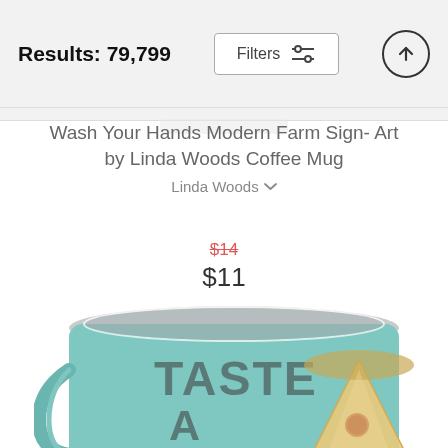Results: 79,799
Wash Your Hands Modern Farm Sign- Art by Linda Woods Coffee Mug
Linda Woods
$14 $11
[Figure (photo): Partial photo of a teal coffee mug with text reading TASTE A SLICE and a pizza slice graphic]